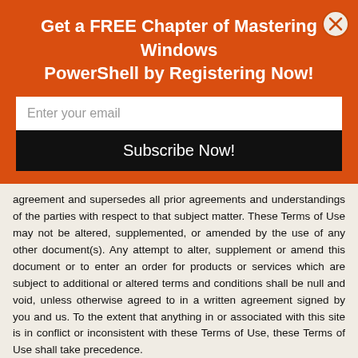Get a FREE Chapter of Mastering Windows PowerShell by Registering Now!
agreement and supersedes all prior agreements and understandings of the parties with respect to that subject matter. These Terms of Use may not be altered, supplemented, or amended by the use of any other document(s). Any attempt to alter, supplement or amend this document or to enter an order for products or services which are subject to additional or altered terms and conditions shall be null and void, unless otherwise agreed to in a written agreement signed by you and us. To the extent that anything in or associated with this site is in conflict or inconsistent with these Terms of Use, these Terms of Use shall take precedence.
19. Orders, Purchases, Quotes, and Labor Provisions
All prices exclude any finance charges. Due to industry price fluctuations, please call for current pricing at the time of order. Call for availability. Shipping & Handling estimated based on product shipping weights and